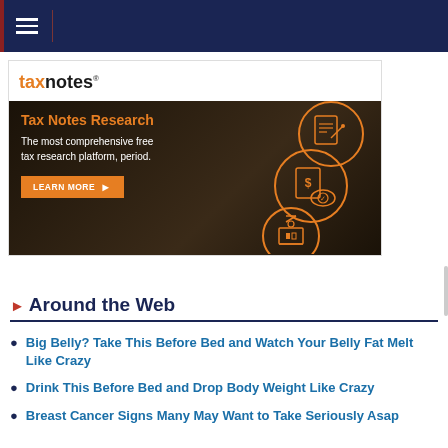Navigation bar with hamburger menu
[Figure (illustration): Tax Notes advertisement banner showing 'taxnotes' logo, dark background with headline 'Tax Notes Research - The most comprehensive free tax research platform, period.' and orange LEARN MORE button with circular document/stamp icons.]
Around the Web
Big Belly? Take This Before Bed and Watch Your Belly Fat Melt Like Crazy
Drink This Before Bed and Drop Body Weight Like Crazy
Breast Cancer Signs Many May Want to Take Seriously Asap